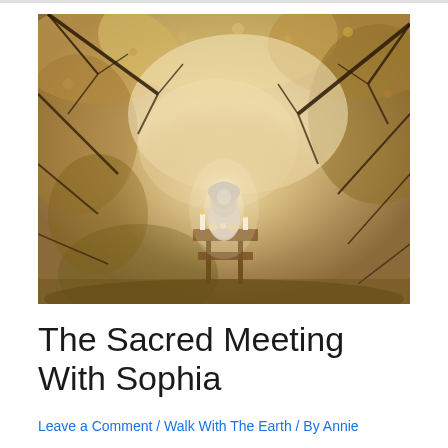[Figure (photo): A serene outdoor forest scene with warm golden and sepia tones. Tree branches spread across the image with dappled light filtering through. In the center-lower portion, a small statue or figure of a woman with a headdress sits at what appears to be a small altar or table with candles.]
The Sacred Meeting With Sophia
Leave a Comment / Walk With The Earth / By Annie